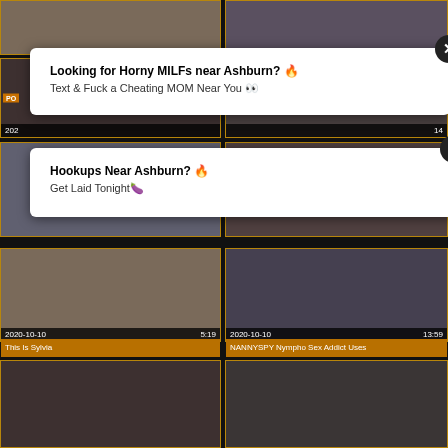[Figure (screenshot): Video thumbnail grid with ad popups overlaid. Top row: two video thumbnails cropped. Second row: partial thumbnails with 'PO' tag, dates and duration overlays. Two ad popup overlays with close buttons. Bottom section: two full video thumbnails with date/duration bars and titles 'This Is Sylvia' and 'NANNYSPY Nympho Sex Addict Uses'. Bottom row: two more video thumbnails partially visible.]
Looking for Horny MILFs near Ashburn? 🔥 Text & Fuck a Cheating MOM Near You 👀
Hookups Near Ashburn? 🔥 Get Laid Tonight🍆
This Is Sylvia
NANNYSPY Nympho Sex Addict Uses